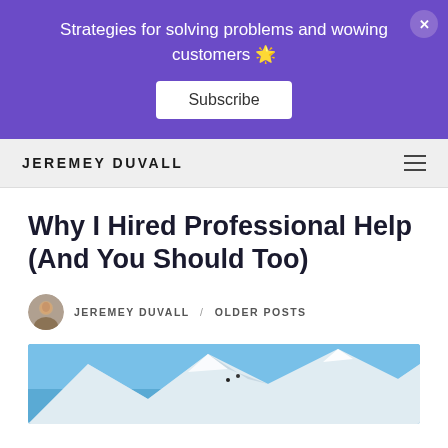Strategies for solving problems and wowing customers 🎯
Subscribe
JEREMEY DUVALL
Why I Hired Professional Help (And You Should Too)
JEREMEY DUVALL / OLDER POSTS
[Figure (photo): Snow-covered mountain peaks with skiers visible on the slope under a blue sky]